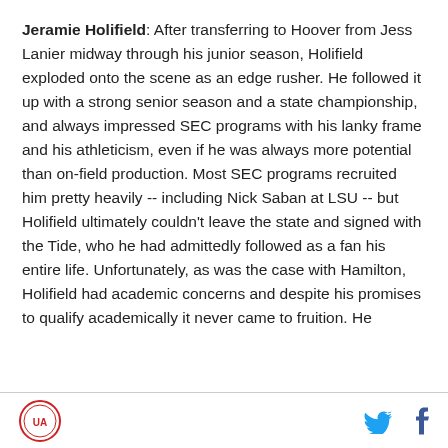Jeramie Holifield: After transferring to Hoover from Jess Lanier midway through his junior season, Holifield exploded onto the scene as an edge rusher. He followed it up with a strong senior season and a state championship, and always impressed SEC programs with his lanky frame and his athleticism, even if he was always more potential than on-field production. Most SEC programs recruited him pretty heavily -- including Nick Saban at LSU -- but Holifield ultimately couldn't leave the state and signed with the Tide, who he had admittedly followed as a fan his entire life. Unfortunately, as was the case with Hamilton, Holifield had academic concerns and despite his promises to qualify academically it never came to fruition. He
[logo] [twitter] [facebook]